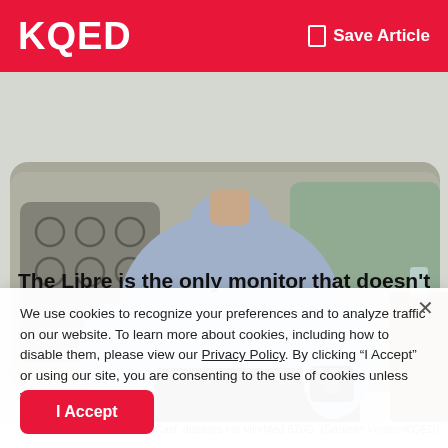KQED  Save Article
[Figure (photo): Man sitting on a sofa holding a MiniMed 670G device, wearing a black wristband and blue polo shirt, with patterned cushions visible.]
Ken Reutell of Petaluma, Calif. displays his MiniMed 670G. (Danielle Venton/KQED)
The Libre is the only monitor that doesn't have to be
We use cookies to recognize your preferences and to analyze traffic on our website. To learn more about cookies, including how to disable them, please view our Privacy Policy. By clicking “I Accept” or using our site, you are consenting to the use of cookies unless you disable them.
I Accept